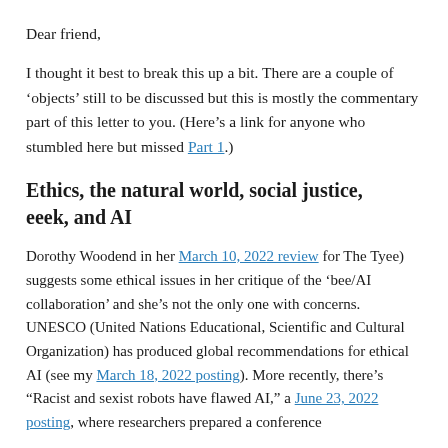Dear friend,
I thought it best to break this up a bit. There are a couple of ‘objects’ still to be discussed but this is mostly the commentary part of this letter to you. (Here’s a link for anyone who stumbled here but missed Part 1.)
Ethics, the natural world, social justice, eeek, and AI
Dorothy Woodend in her March 10, 2022 review for The Tyee) suggests some ethical issues in her critique of the ‘bee/AI collaboration’ and she’s not the only one with concerns. UNESCO (United Nations Educational, Scientific and Cultural Organization) has produced global recommendations for ethical AI (see my March 18, 2022 posting). More recently, there’s “Racist and sexist robots have flawed AI,” a June 23, 2022 posting, where researchers prepared a conference